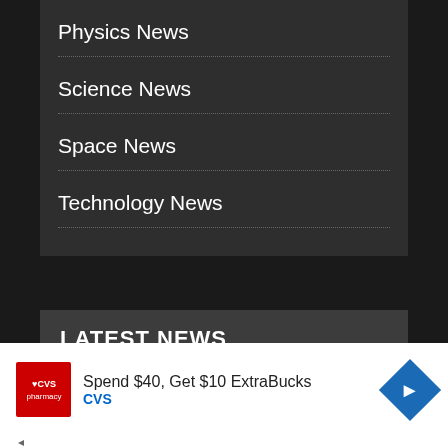Physics News
Science News
Space News
Technology News
LATEST NEWS
Research Shows “Remarkable” Impacts of Grape Consumption on Health and Lifespans
[Figure (other): CVS Pharmacy advertisement: Spend $40, Get $10 ExtraBucks. CVS logo and directional sign graphic.]